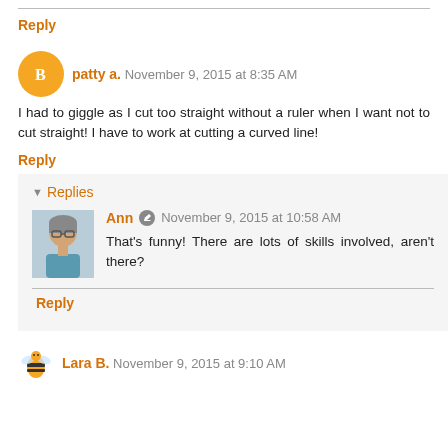Reply
patty a. November 9, 2015 at 8:35 AM
I had to giggle as I cut too straight without a ruler when I want not to cut straight! I have to work at cutting a curved line!
Reply
Replies
Ann November 9, 2015 at 10:58 AM
That's funny! There are lots of skills involved, aren't there?
Reply
Lara B. November 9, 2015 at 9:10 AM